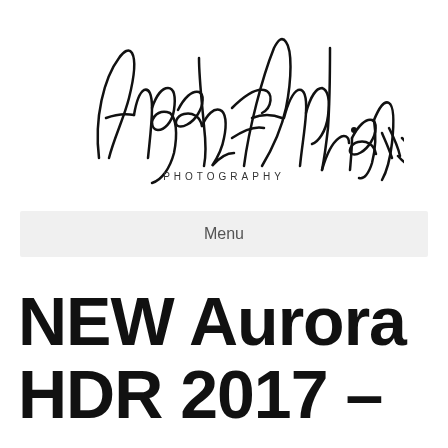[Figure (logo): Angela Andrieux Photography signature logo in black cursive script with 'PHOTOGRAPHY' in small caps beneath]
Menu
NEW Aurora HDR 2017 –